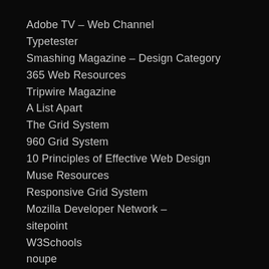Adobe TV – Web Channel
Typetester
Smashing Magazine – Design Category
365 Web Resources
Tripwire Magazine
A List Apart
The Grid System
960 Grid System
10 Principles of Effective Web Design
Muse Resources
Responsive Grid System
Mozilla Developer Network –
sitepoint
W3Schools
noupe
HTML Dog